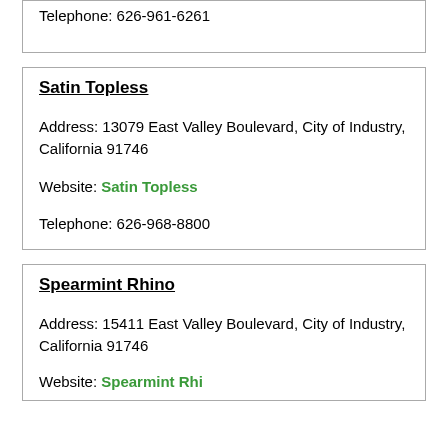Telephone: 626-961-6261
Satin Topless
Address: 13079 East Valley Boulevard, City of Industry, California 91746
Website: Satin Topless
Telephone: 626-968-8800
Spearmint Rhino
Address: 15411 East Valley Boulevard, City of Industry, California 91746
Website: Spearmint Rhino